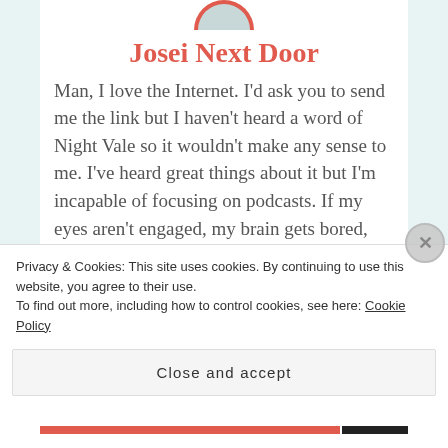Josei Next Door
Man, I love the Internet. I’d ask you to send me the link but I haven’t heard a word of Night Vale so it wouldn’t make any sense to me. I’ve heard great things about it but I’m incapable of focusing on podcasts. If my eyes aren’t engaged, my brain gets bored, and since I don’t have time to draw comics (and don’t have to commute to work) anymore I don’t really have an “eyes only” activity I could do while listening
Privacy & Cookies: This site uses cookies. By continuing to use this website, you agree to their use.
To find out more, including how to control cookies, see here: Cookie Policy
Close and accept